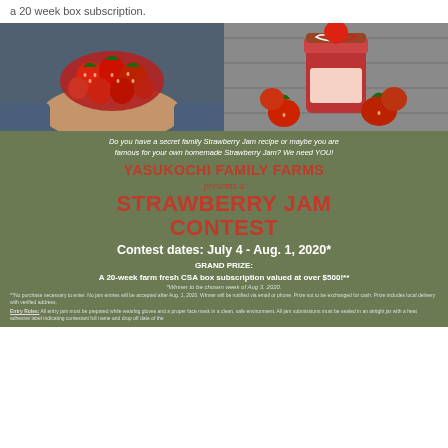a 20 week box subscription.
[Figure (photo): Two photos side by side: left shows hands holding fresh strawberries, right shows a jar of strawberry jam with fresh strawberries around it.]
Do you have a secret family Strawberry Jam recipe or maybe you are famous for your own homemade Strawberry Jam? We need YOU!
YASUKOCHI FAMILY FARMS presents a STRAWBERRY JAM CONTEST
Contest dates: July 4 - Aug. 1, 2020*
GRAND PRIZE:
A 20-week farm fresh CSA box subscription valued at over $500!**
*Winner to be chosen week of Aug 3, 2020.
**No purchase necessary to enter. No jam entries will be accepted after Aug. 1, 2020. Winner will be notified via email or phone. Prize not to be exchanged for cash. Prize includes local delivery with verified address.
Entry Rules: All entry jam must be prepared while wearing gloves and a proper face mask in a clean, safe environment. All jam submissions must be sealed in an airtight jar with a heat adhesive label indicating contestant full name and drop off date of the